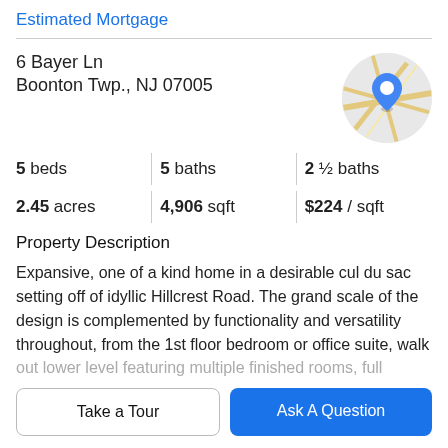Estimated Mortgage
6 Bayer Ln
Boonton Twp., NJ 07005
[Figure (map): Circular map thumbnail showing a location pin marker over a road map of Boonton Twp., NJ area]
5 beds   5 baths   2 ½ baths
2.45 acres   4,906 sqft   $224 / sqft
Property Description
Expansive, one of a kind home in a desirable cul du sac setting off of idyllic Hillcrest Road. The grand scale of the design is complemented by functionality and versatility throughout, from the 1st floor bedroom or office suite, walk out lower level featuring multiple finished rooms, full
Take a Tour
Ask A Question